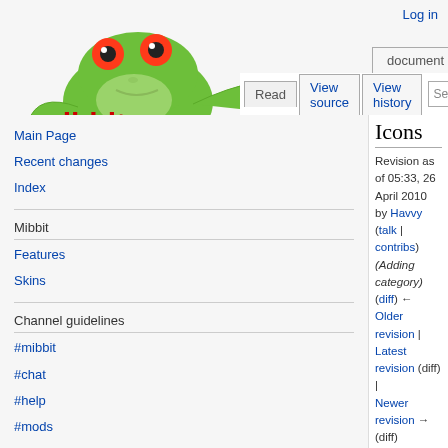Log in
[Figure (logo): Mibbit frog logo with red eyes and 'mibbit' text in red]
Icons
Revision as of 05:33, 26 April 2010 by Havvy (talk | contribs) (Adding category) (diff) ← Older revision | Latest revision (diff) | Newer revision → (diff)
| Icon | Name | Description | Mo... |
| --- | --- | --- | --- |
| 🏠 | Owner | Has full control over the channel. | +q |
| 🔑 | Admin | Can't be kicked because user is protected. On some networks | +a |
Main Page
Recent changes
Index
Mibbit
Features
Skins
Channel guidelines
#mibbit
#chat
#help
#mods